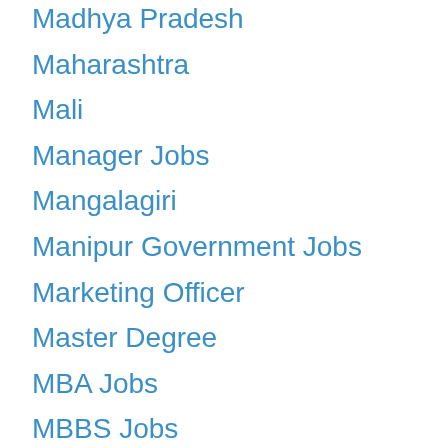Madhya Pradesh
Maharashtra
Mali
Manager Jobs
Mangalagiri
Manipur Government Jobs
Marketing Officer
Master Degree
MBA Jobs
MBBS Jobs
MCA
MD
Mechanic
Medical Department